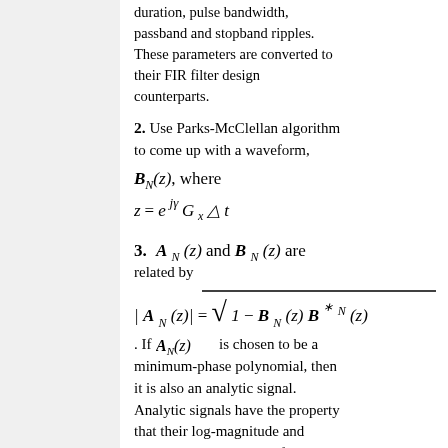duration, pulse bandwidth, passband and stopband ripples. These parameters are converted to their FIR filter design counterparts.
2. Use Parks-McClellan algorithm to come up with a waveform, B_N(z), where z = e^{j gamma G_x Delta t}
3. A_N(z) and B_N(z) are related by |A_N(z)| = sqrt(1 - B_N(z) B_N*(z)). If A_N(z) is chosen to be a minimum-phase polynomial, then it is also an analytic signal. Analytic signals have the property that their log-magnitude and phase are a Hilbert transform pair.